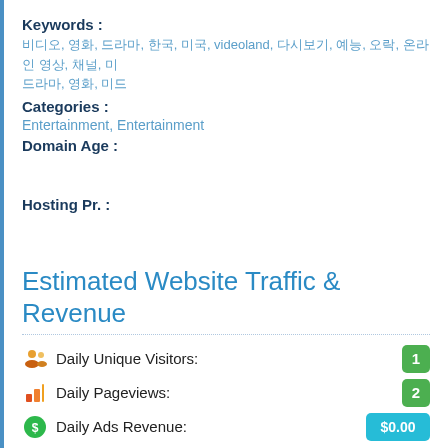Keywords :
비디오, 영화, 드라마, 한국, 미국, videoland, 다시보기, 예능, 오락, 온라인 영상, 채널, 미국, 드라마, 영화, 미드
Categories :
Entertainment, Entertainment
Domain Age :
Hosting Pr. :
Estimated Website Traffic & Revenue
Daily Unique Visitors: 1
Daily Pageviews: 2
Daily Ads Revenue: $0.00